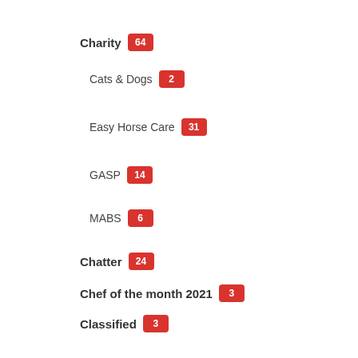Charity 64
Cats & Dogs 2
Easy Horse Care 31
GASP 14
MABS 6
Chatter 24
Chef of the month 2021 3
Classified 3
Cycling with Bici Gran Alacant 9
Featured 286
Finance 6